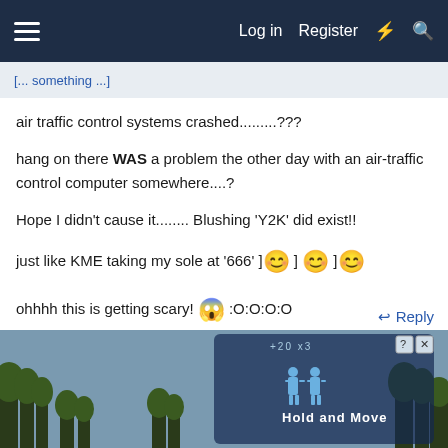Log in  Register
[... something ...]
air traffic control systems crashed.........???
hang on there WAS a problem the other day with an air-traffic control computer somewhere....?
Hope I didn't cause it........ Blushing 'Y2K' did exist!!
just like KME taking my sole at '666' ] 😊 ] 😊 ] 😊
ohhhh this is getting scary! 😱 :O:O:O:O
[Figure (screenshot): Advertisement banner showing a mobile game 'Hold and Move' with player figures and trees in background]